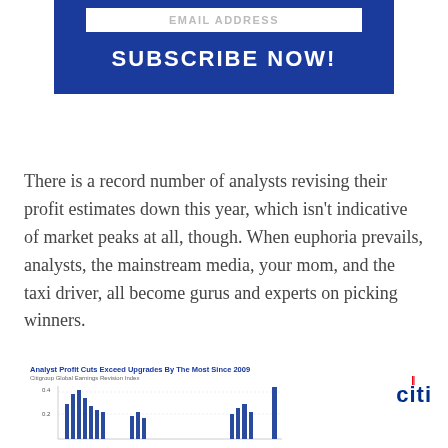[Figure (other): Blue banner with EMAIL ADDRESS input box and SUBSCRIBE NOW! button]
There is a record number of analysts revising their profit estimates down this year, which isn't indicative of market peaks at all, though. When euphoria prevails, analysts, the mainstream media, your mom, and the taxi driver, all become gurus and experts on picking winners.
[Figure (continuous-plot): Analyst Profit Cuts Exceed Upgrades By The Most Since 2009 - Citigroup Global Earnings Revision Index bar chart showing spikes around 0.4 and 0.2 levels]